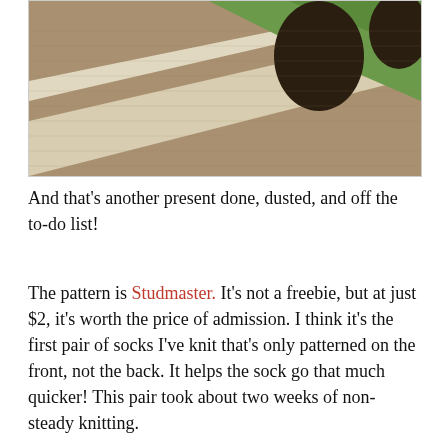[Figure (photo): Close-up of knitted socks showing a pattern with green, cream/white, brown/tan diagonal stripes and dark brown oval spots on a light background.]
And that’s another present done, dusted, and off the to-do list!
The pattern is Studmaster. It’s not a freebie, but at just $2, it’s worth the price of admission. I think it’s the first pair of socks I’ve knit that’s only patterned on the front, not the back. It helps the sock go that much quicker! This pair took about two weeks of non-steady knitting.
With those done, it’s time to check out a hat remains on